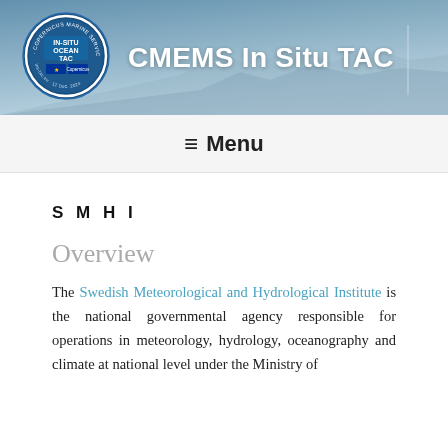CMEMS In Situ TAC
Menu
SMHI
Overview
The Swedish Meteorological and Hydrological Institute is the national governmental agency responsible for operations in meteorology, hydrology, oceanography and climate at national level under the Ministry of